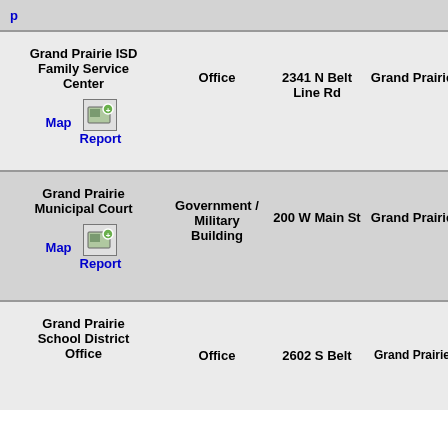| Name | Type | Address | City | Code |
| --- | --- | --- | --- | --- |
| Grand Prairie ISD Family Service Center | Office | 2341 N Belt Line Rd | Grand Prairie | 30.06 30.07 S |
| Grand Prairie Municipal Court | Government / Military Building | 200 W Main St | Grand Prairie | 30.06 30.07 S |
| Grand Prairie School District Office | Office | 2602 S Belt | Grand Prairie | School Education |